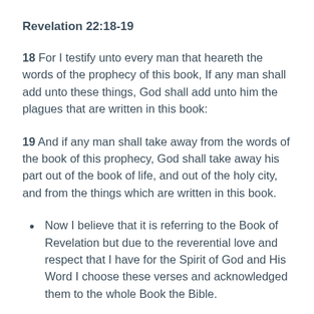Revelation 22:18-19
18 For I testify unto every man that heareth the words of the prophecy of this book, If any man shall add unto these things, God shall add unto him the plagues that are written in this book:
19 And if any man shall take away from the words of the book of this prophecy, God shall take away his part out of the book of life, and out of the holy city, and from the things which are written in this book.
Now I believe that it is referring to the Book of Revelation but due to the reverential love and respect that I have for the Spirit of God and His Word I choose these verses and acknowledged them to the whole Book the Bible.